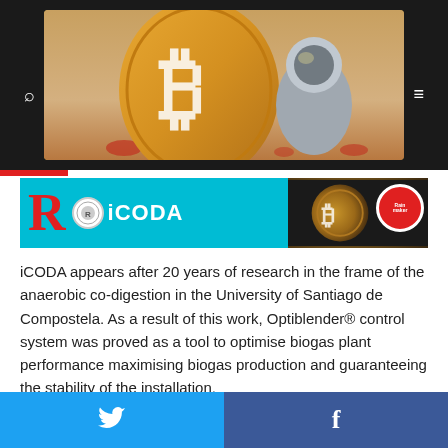[Figure (illustration): Dark header bar with a central banner image showing an astronaut holding a large orange Bitcoin coin symbol against a warm sky background. Search icon on left, hamburger menu icon on right.]
[Figure (logo): iCODA banner with large red R letter, small circular logo, and 'iCODA' text in white on cyan background. Right side shows bitcoin coin image with a Rainmaker award badge.]
iCODA appears after 20 years of research in the frame of the anaerobic co-digestion in the University of Santiago de Compostela. As a result of this work, Optiblender® control system was proved as a tool to optimise biogas plant performance maximising biogas production and guaranteeing the stability of the installation.
[Figure (infographic): Footer bar split into two halves: left half in Twitter blue with Twitter bird icon, right half in Facebook blue with Facebook 'f' icon.]